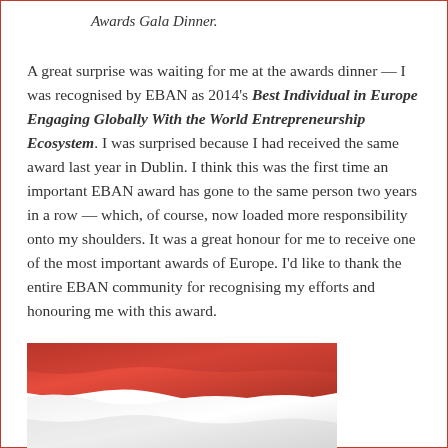Awards Gala Dinner.
A great surprise was waiting for me at the awards dinner — I was recognised by EBAN as 2014's Best Individual in Europe Engaging Globally With the World Entrepreneurship Ecosystem. I was surprised because I had received the same award last year in Dublin. I think this was the first time an important EBAN award has gone to the same person two years in a row — which, of course, now loaded more responsibility onto my shoulders. It was a great honour for me to receive one of the most important awards of Europe. I'd like to thank the entire EBAN community for recognising my efforts and honouring me with this award.
[Figure (photo): A red and white flag (Indonesian flag) photographed close-up with fabric folds visible, showing the upper red half and lower white half.]